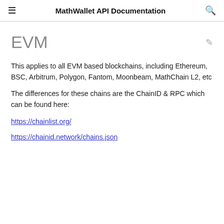MathWallet API Documentation
EVM
This applies to all EVM based blockchains, including Ethereum, BSC, Arbitrum, Polygon, Fantom, Moonbeam, MathChain L2, etc
The differences for these chains are the ChainID & RPC which can be found here:
https://chainlist.org/
https://chainid.network/chains.json